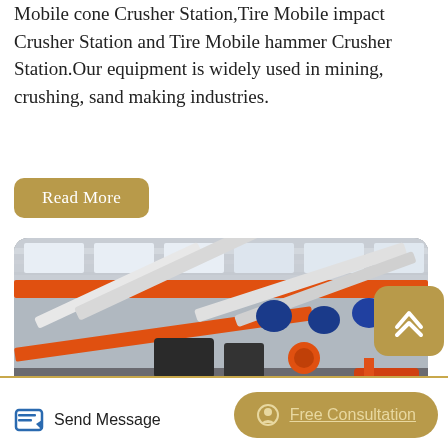Mobile cone Crusher Station,Tire Mobile impact Crusher Station and Tire Mobile hammer Crusher Station.Our equipment is widely used in mining, crushing, sand making industries.
Read More
[Figure (photo): Industrial factory interior showing mobile crusher station equipment with orange overhead crane beams, blue motors, conveyor belts, and a forklift in the background.]
Send Message
Free Consultation